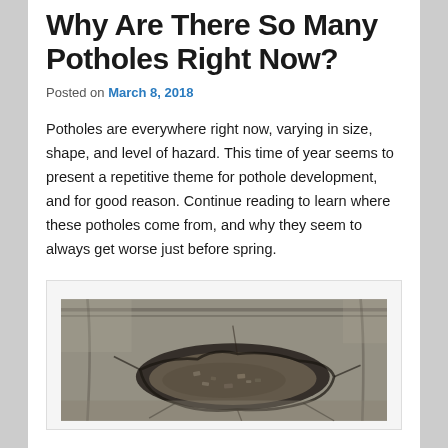Why Are There So Many Potholes Right Now?
Posted on March 8, 2018
Potholes are everywhere right now, varying in size, shape, and level of hazard. This time of year seems to present a repetitive theme for pothole development, and for good reason. Continue reading to learn where these potholes come from, and why they seem to always get worse just before spring.
[Figure (photo): A large pothole in a road surface showing broken asphalt and gravel, photographed close-up showing the depth and width of the road damage.]